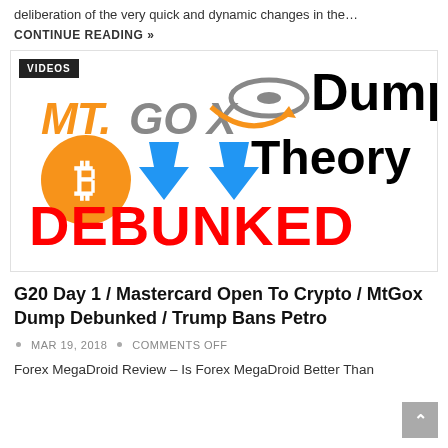deliberation of the very quick and dynamic changes in the…
CONTINUE READING »
[Figure (illustration): MT.GOX Dump Theory DEBUNKED article thumbnail image with MT.GOX logo, Bitcoin symbol, blue arrows pointing down, and large red DEBUNKED text. A 'VIDEOS' badge is in the top-left corner.]
G20 Day 1 / Mastercard Open To Crypto / MtGox Dump Debunked / Trump Bans Petro
MAR 19, 2018 • COMMENTS OFF
Forex MegaDroid Review – Is Forex MegaDroid Better Than